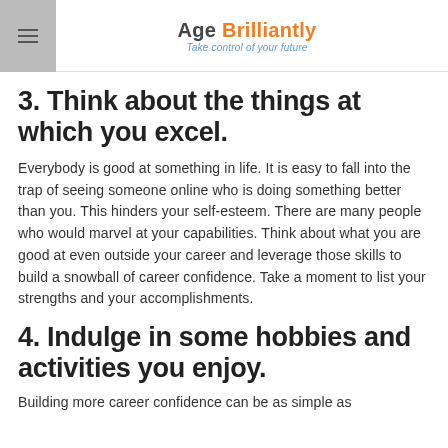Age Brilliantly — Take control of your future
3. Think about the things at which you excel.
Everybody is good at something in life. It is easy to fall into the trap of seeing someone online who is doing something better than you. This hinders your self-esteem. There are many people who would marvel at your capabilities. Think about what you are good at even outside your career and leverage those skills to build a snowball of career confidence. Take a moment to list your strengths and your accomplishments.
4. Indulge in some hobbies and activities you enjoy.
Building more career confidence can be as simple as